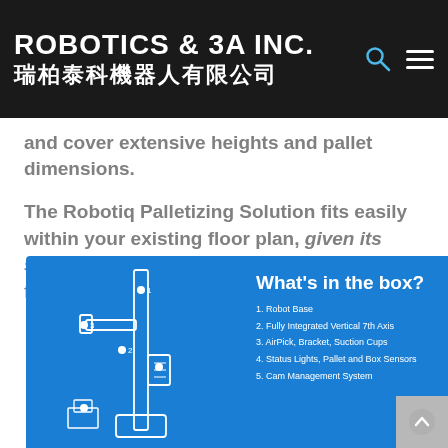ROBOTICS & 3A INC. 瑞柏泰科機器人有限公司
and cover extensive heights and pallet dimensions.
The Robotiq Palletizing Solution fits easily within your existing floor plan, given its small footprint. No need to reorganize your floor layout around a central robot.
[Figure (infographic): Blue infographic box titled 'What's in the box?' with a line-art illustration of a palletizing robot on the left, and a numbered list on the right: 1. Robot Base, 2. Fully Integrated Vertical 7th Axis, 3. AirPick, Bracket, Suction Cups, 4. Status Lights, Pallet and Box Sensors, 5. Cam Management System]